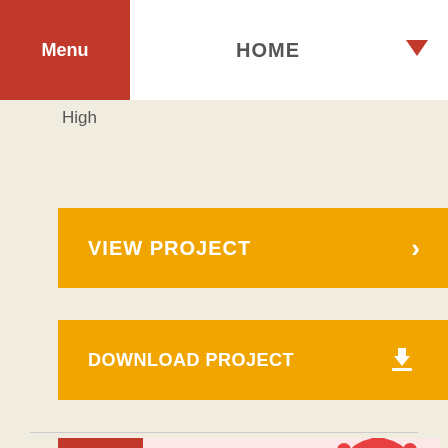Menu | HOME
High
VIEW PROJECT >
DOWNLOAD PROJECT
[Figure (illustration): Featured badge with illustrated virus/bacteria cells in red and pink on a light background]